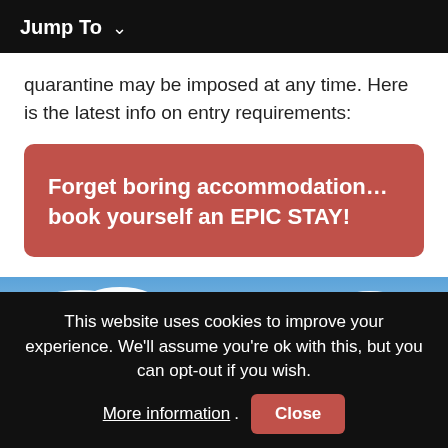Jump To
quarantine may be imposed at any time. Here is the latest info on entry requirements:
Forget boring accommodation... book yourself an EPIC STAY!
[Figure (photo): Blue sky with white clouds]
This website uses cookies to improve your experience. We'll assume you're ok with this, but you can opt-out if you wish. More information. Close